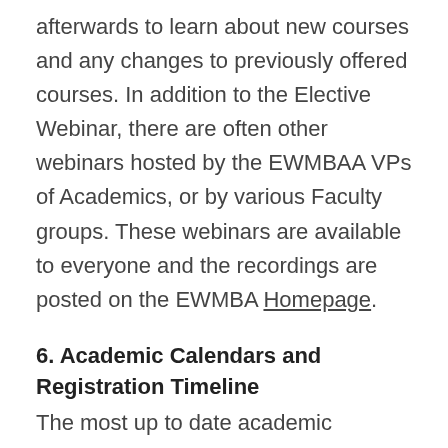afterwards to learn about new courses and any changes to previously offered courses. In addition to the Elective Webinar, there are often other webinars hosted by the EWMBAA VPs of Academics, or by various Faculty groups. These webinars are available to everyone and the recordings are posted on the EWMBA Homepage.
6. Academic Calendars and Registration Timeline
The most up to date academic calendars can be found on EWMBA